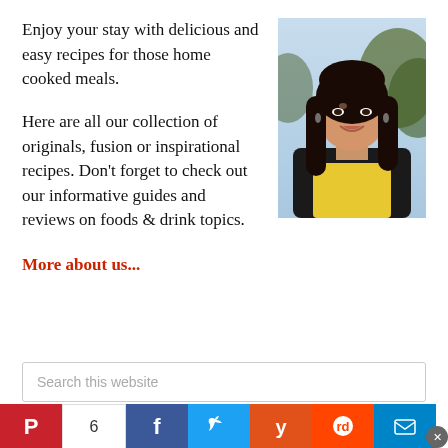Enjoy your stay with delicious and easy recipes for those home cooked meals.
[Figure (photo): Portrait photo of a smiling young Asian woman with long dark hair, wearing a yellow top and dark jacket, outdoors with trees in background]
Here are all our collection of originals, fusion or inspirational recipes. Don't forget to check out our informative guides and reviews on foods & drink topics.
More about us...
Search this website
6